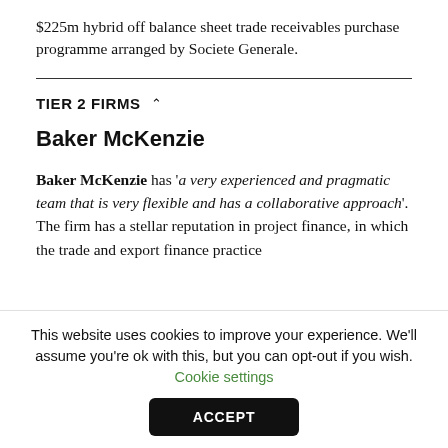$225m hybrid off balance sheet trade receivables purchase programme arranged by Societe Generale.
TIER 2 FIRMS
Baker McKenzie
Baker McKenzie has 'a very experienced and pragmatic team that is very flexible and has a collaborative approach'. The firm has a stellar reputation in project finance, in which the trade and export finance practice
This website uses cookies to improve your experience. We'll assume you're ok with this, but you can opt-out if you wish. Cookie settings
ACCEPT